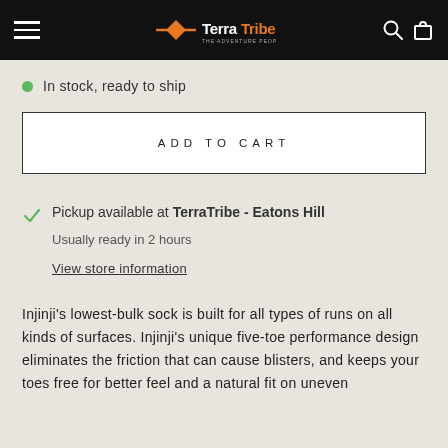TerraTribe - The Adventure People
In stock, ready to ship
ADD TO CART
Pickup available at TerraTribe - Eatons Hill
Usually ready in 2 hours
View store information
Injinji's lowest-bulk sock is built for all types of runs on all kinds of surfaces. Injinji's unique five-toe performance design eliminates the friction that can cause blisters, and keeps your toes free for better feel and a natural fit on uneven